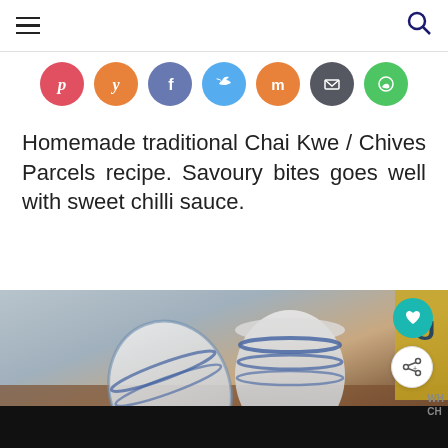≡ [hamburger menu] [search icon]
[Figure (infographic): Row of 7 social sharing icon circles: Pinterest (red/pink), Yummly (orange), Facebook (purple-blue), Twitter (blue), Mix (orange), Email (dark gray), WhatsApp (green)]
Homemade traditional Chai Kwe / Chives Parcels recipe. Savoury bites goes well with sweet chilli sauce.
[Figure (photo): Photo of blue-and-white striped ceramic bowls/cups on a wooden surface, partially visible yellow box in background. Website UI overlays include a teal heart button and a white share button on the right side.]